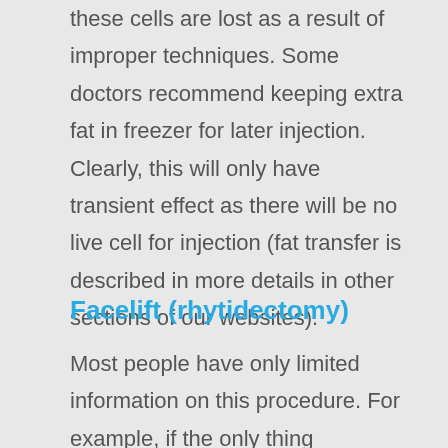these cells are lost as a result of improper techniques. Some doctors recommend keeping extra fat in freezer for later injection. Clearly, this will only have transient effect as there will be no live cell for injection (fat transfer is described in more details in other sections of our websites).
Facelift (rhytidectomy)
Most people have only limited information on this procedure. For example, if the only thing someone